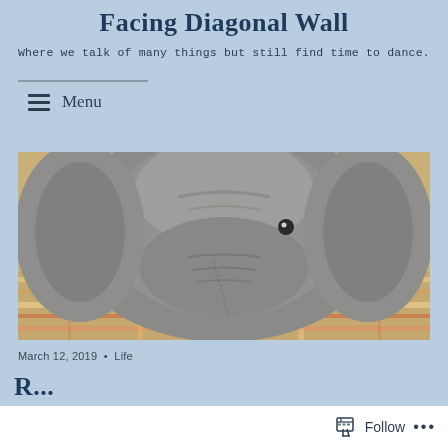Facing Diagonal Wall
Where we talk of many things but still find time to dance.
≡  Menu
[Figure (photo): Close-up photograph of a grey stuffed elephant plush toy facing the camera, with large ears and a small eye visible, resting on a colorful plaid fabric background.]
March 12, 2019  •  Life
R... (partially visible post title)
Follow  ...